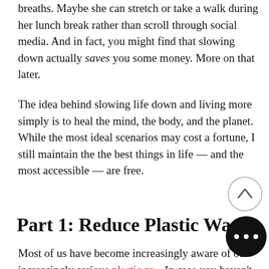breaths. Maybe she can stretch or take a walk during her lunch break rather than scroll through social media. And in fact, you might find that slowing down actually saves you some money. More on that later.
The idea behind slowing life down and living more simply is to heal the mind, the body, and the planet. While the most ideal scenarios may cost a fortune, I still maintain the the best things in life — and the most accessible — are free.
Part 1: Reduce Plastic Waste
Most of us have become increasingly aware of our increasingly serious plastic pr... In case you haven't, allow me to give you a